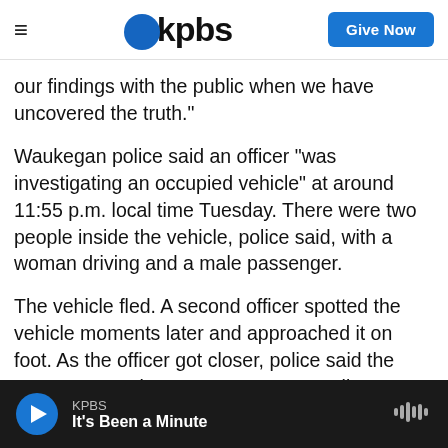kpbs | Give Now
our findings with the public when we have uncovered the truth."
Waukegan police said an officer "was investigating an occupied vehicle" at around 11:55 p.m. local time Tuesday. There were two people inside the vehicle, police said, with a woman driving and a male passenger.
The vehicle fled. A second officer spotted the vehicle moments later and approached it on foot. As the officer got closer, police said the suspects' car "began to reverse." A police statement added: "Offic...
KPBS | It's Been a Minute